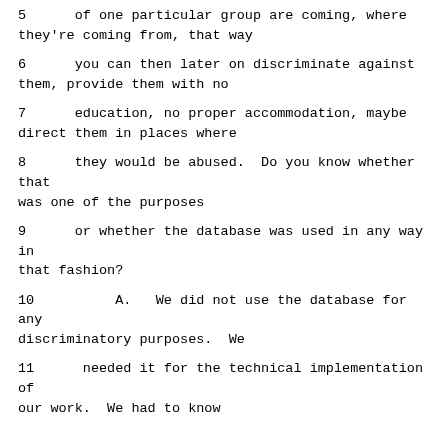5      of one particular group are coming, where they're coming from, that way
6      you can then later on discriminate against them, provide them with no
7      education, no proper accommodation, maybe direct them in places where
8      they would be abused.  Do you know whether that was one of the purposes
9      or whether the database was used in any way in that fashion?
10          A.   We did not use the database for any discriminatory purposes.  We
11      needed it for the technical implementation of our work.  We had to know